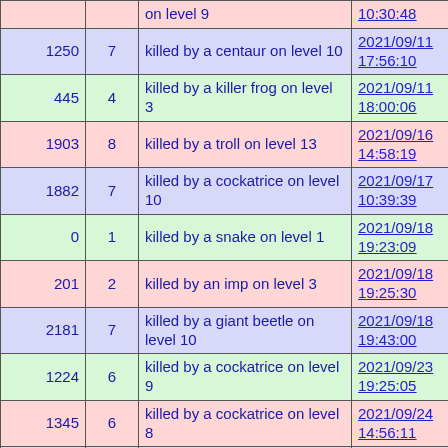| Score | Level | Description | Date/Time |
| --- | --- | --- | --- |
|  |  | on level 9 | 10:30:48 |
| 1250 | 7 | killed by a centaur on level 10 | 2021/09/11 17:56:10 |
| 445 | 4 | killed by a killer frog on level 3 | 2021/09/11 18:00:06 |
| 1903 | 8 | killed by a troll on level 13 | 2021/09/16 14:58:19 |
| 1882 | 7 | killed by a cockatrice on level 10 | 2021/09/17 10:39:39 |
| 0 | 1 | killed by a snake on level 1 | 2021/09/18 19:23:09 |
| 201 | 2 | killed by an imp on level 3 | 2021/09/18 19:25:30 |
| 2181 | 7 | killed by a giant beetle on level 10 | 2021/09/18 19:43:00 |
| 1224 | 6 | killed by a cockatrice on level 9 | 2021/09/23 19:25:05 |
| 1345 | 6 | killed by a cockatrice on level 8 | 2021/09/24 14:56:11 |
| 2328 | 7 | killed by a cockatrice on level 9 | 2021/09/26 01:31:53 |
| 1172 | 7 | killed by a hell hound on level 11 | 2021/09/26 01:59:02 |
| 363 | 4 | killed by a vrock on level 4 | 2021/10/01 21:59:16 |